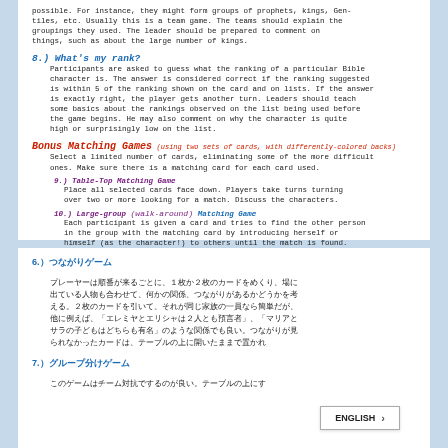possible. For instance, they might form groups of prophets, kings, Gentiles, etc. Usually this is a team game. The teams should explain the groupings they used. The leader should be prepared to comment on things, such as about the large number of kings.
8.) What's my rank?
Participants are asked to guess what the ranking of a particular Bible character is. The answer is considered correct if the ranking suggested is within 5 of the ranking shown on the card and on lists. If the answer is exactly right, the player gets another turn. Leaders should teach some basics about the rankings observed on the list being used before the game begins. He may also comment on why the character is quite high or surprisingly low on the list.
Bonus Matching Games (using two sets of cards, with differently-colored backs)
Select a limited number of cards, eliminating some of the more difficult ones. Make sure there is a matching card for each card used.
9.) Table-Top Matching Game
Place all selected cards face down. Players take turns turning over two or more looking for a match. Discuss the characters.
10.) Large-group (walk-around) Matching Game
Each participant is given a card and tries to find the other person in the group with the matching card by introducing herself or himself (as the character!) to others until the match is found.
6.) つながりゲーム
プレーヤーは順番が来るごとに、１枚か２枚のカードをめくり、場に出ている人物も合わせて、何かの関係、つながりがあるかどうかを考える。２枚のカードを引いて、それが同じ家族の一員なら簡単だが、他に例えば、「エレミヤとエリシャは２人とも預言者」、「マリアとサラの子どもはどちらも有名」のような関係でも良い。つながりが見られなかったカードは、テーブルの上に開いたままで置かれ
7.) グループ分けゲーム
このゲームはチーム対抗でするのが良い。テーブルの上に